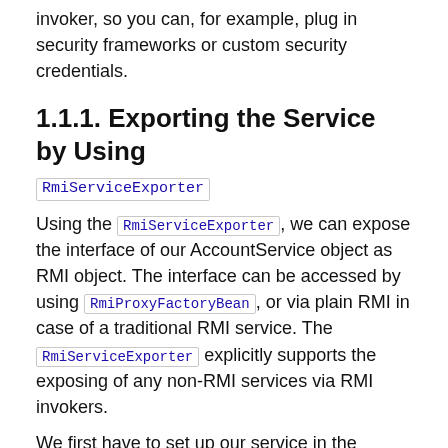invoker, so you can, for example, plug in security frameworks or custom security credentials.
1.1.1. Exporting the Service by Using RmiServiceExporter
Using the RmiServiceExporter, we can expose the interface of our AccountService object as RMI object. The interface can be accessed by using RmiProxyFactoryBean, or via plain RMI in case of a traditional RMI service. The RmiServiceExporter explicitly supports the exposing of any non-RMI services via RMI invokers.
We first have to set up our service in the Spring container. The following example shows how to do so:
[Figure (screenshot): Code block showing XML with label 'XML' in top-right corner, beginning with a bean element with id="accountService" class="example.AccountS..."]